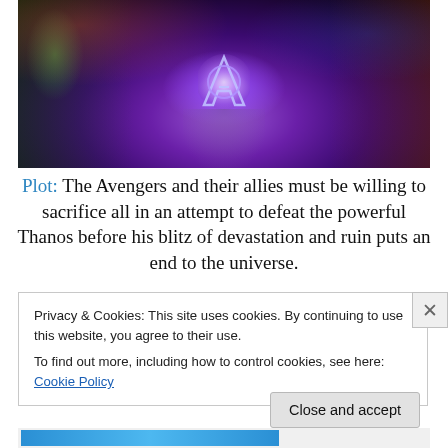[Figure (photo): Avengers: Infinity War movie poster showing multiple Marvel superheroes including Hulk, Thor, Iron Man, Black Widow, and others surrounding the glowing Avengers 'A' logo, with Thanos at the bottom. Dark purple and black cosmic background.]
Plot: The Avengers and their allies must be willing to sacrifice all in an attempt to defeat the powerful Thanos before his blitz of devastation and ruin puts an end to the universe.
Privacy & Cookies: This site uses cookies. By continuing to use this website, you agree to their use.
To find out more, including how to control cookies, see here: Cookie Policy
Close and accept